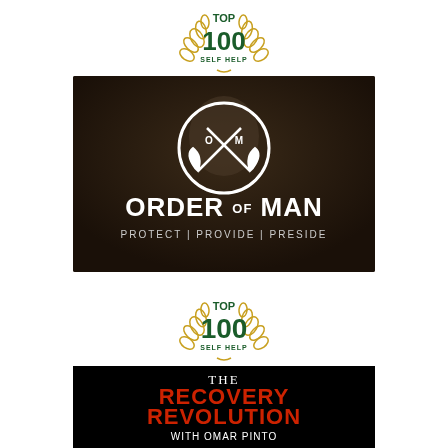[Figure (logo): Top 100 Self Help badge with gold laurel wreath surrounding green text reading TOP 100 SELF HELP]
[Figure (logo): Order of Man podcast logo on dark background showing crossed axes in a circle, text reads ORDER OF MAN, PROTECT | PROVIDE | PRESIDE]
[Figure (logo): Top 100 Self Help badge with gold laurel wreath surrounding green text reading TOP 100 SELF HELP]
[Figure (logo): The Recovery Revolution with Omar Pinto podcast logo on black background with red bold text]